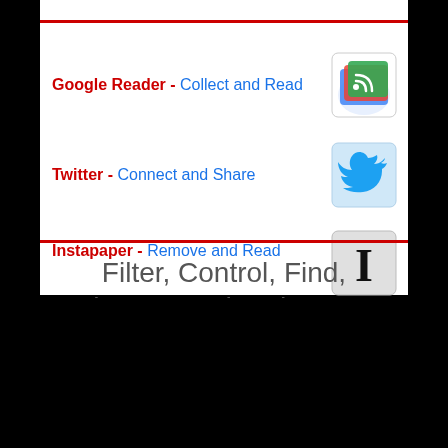Google Reader - Collect and Read
Twitter - Connect and Share
Instapaper - Remove and Read
Filter, Control, Find, Share, Read and Learn!